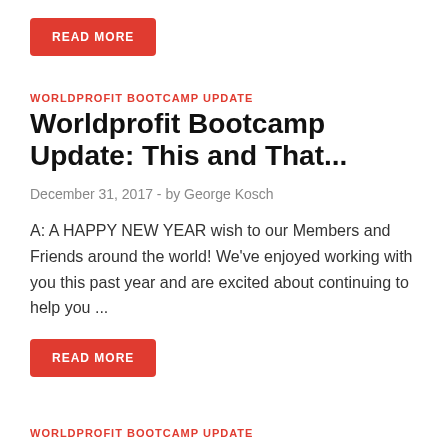READ MORE
WORLDPROFIT BOOTCAMP UPDATE
Worldprofit Bootcamp Update: This and That...
December 31, 2017  -  by George Kosch
A: A HAPPY NEW YEAR wish to our Members and Friends around the world! We've enjoyed working with you this past year and are excited about continuing to help you ...
READ MORE
WORLDPROFIT BOOTCAMP UPDATE
Worldprofit Bootcamp Update: Friday is